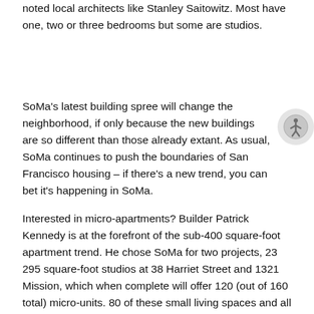noted local architects like Stanley Saitowitz. Most have one, two or three bedrooms but some are studios.
SoMa's latest building spree will change the neighborhood, if only because the new buildings are so different than those already extant. As usual, SoMa continues to push the boundaries of San Francisco housing – if there's a new trend, you can bet it's happening in SoMa.
Interested in micro-apartments? Builder Patrick Kennedy is at the forefront of the sub-400 square-foot apartment trend. He chose SoMa for two projects, 23 295 square-foot studios at 38 Harriet Street and 1321 Mission, which when complete will offer 120 (out of 160 total) micro-units. 80 of these small living spaces and all of 38 Harriet (not originally planned but how it turned out) will be set